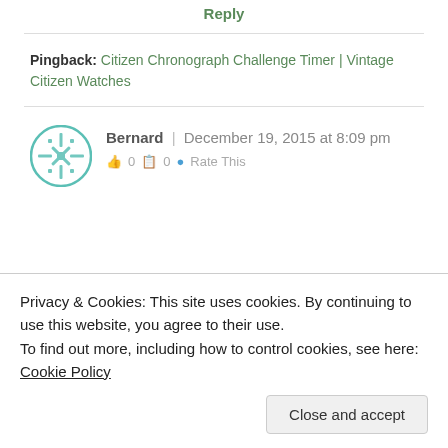Reply
Pingback: Citizen Chronograph Challenge Timer | Vintage Citizen Watches
[Figure (illustration): Circular avatar with green snowflake/geometric pattern on white background]
Bernard | December 19, 2015 at 8:09 pm
Privacy & Cookies: This site uses cookies. By continuing to use this website, you agree to their use.
To find out more, including how to control cookies, see here: Cookie Policy
Close and accept